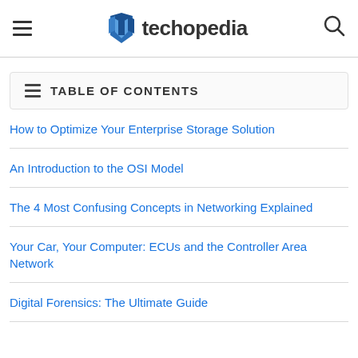techopedia
TABLE OF CONTENTS
How to Optimize Your Enterprise Storage Solution
An Introduction to the OSI Model
The 4 Most Confusing Concepts in Networking Explained
Your Car, Your Computer: ECUs and the Controller Area Network
Digital Forensics: The Ultimate Guide